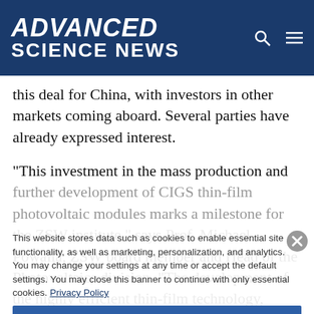ADVANCED SCIENCE NEWS
this deal for China, with investors in other markets coming aboard. Several parties have already expressed interest.
“This investment in the mass production and further development of CIGS thin-film photovoltaic modules marks a milestone for the ZSW institute,” says Prof. Michael Powalla, ZSW board member and Head of the Photovoltaics division. “The development of the highly efficient thin-film technology, which we initiated 20 years ago and have continued to pursue jointly with Manz AG since 2010, is now gaining real relevance for the market.” Powalla added that this strategic alliance of Chinese energy companies and ZSW’s industry partner Manz promises to yield gigawatt
This website stores data such as cookies to enable essential site functionality, as well as marketing, personalization, and analytics. You may change your settings at any time or accept the default settings. You may close this banner to continue with only essential cookies. Privacy Policy
Manage Preferences
Accept All
Reject All